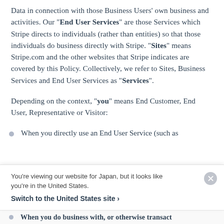Data in connection with those Business Users' own business and activities. Our "End User Services" are those Services which Stripe directs to individuals (rather than entities) so that those individuals do business directly with Stripe. "Sites" means Stripe.com and the other websites that Stripe indicates are covered by this Policy. Collectively, we refer to Sites, Business Services and End User Services as "Services".
Depending on the context, "you" means End Customer, End User, Representative or Visitor:
When you directly use an End User Service (such as
You're viewing our website for Japan, but it looks like you're in the United States.
Switch to the United States site ›
When you do business with, or otherwise transact